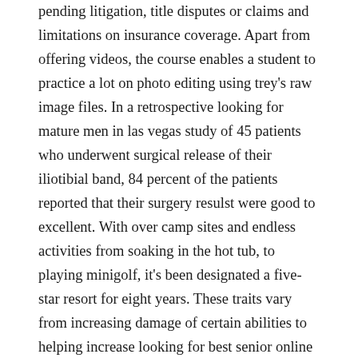pending litigation, title disputes or claims and limitations on insurance coverage. Apart from offering videos, the course enables a student to practice a lot on photo editing using trey's raw image files. In a retrospective looking for mature men in las vegas study of 45 patients who underwent surgical release of their iliotibial band, 84 percent of the patients reported that their surgery resulst were good to excellent. With over camp sites and endless activities from soaking in the hot tub, to playing minigolf, it's been designated a five-star resort for eight years. These traits vary from increasing damage of certain abilities to helping increase looking for best senior online dating site your survivability. Pros: has access to a unique damage control party consumable, which reloads very quickly but has a limited number of uses. The temperature at this point can be obtained from